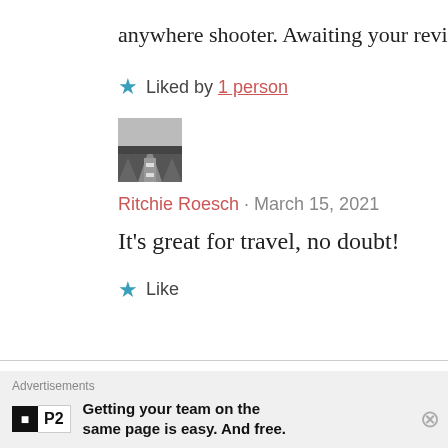anywhere shooter. Awaiting your review 🙂
★ Liked by 1 person
[Figure (photo): Avatar photo thumbnail showing a road/highway scene]
Ritchie Roesch · March 15, 2021
It's great for travel, no doubt!
★ Like
Leave a Reply
Your email address will not be published.
Advertisements — Getting your team on the same page is easy. And free.